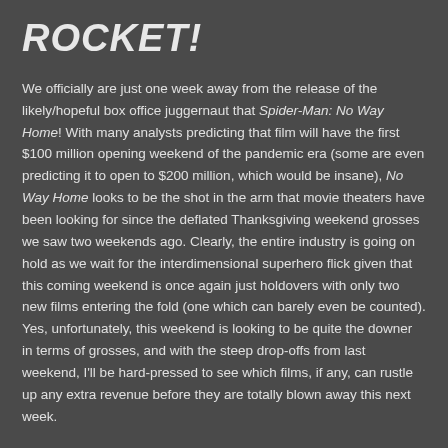ROCKET!
We officially are just one week away from the release of the likely/hopeful box office juggernaut that Spider-Man: No Way Home! With many analysts predicting that film will have the first $100 million opening weekend of the pandemic era (some are even predicting it to open to $200 million, which would be insane), No Way Home looks to be the shot in the arm that movie theaters have been looking for since the deflated Thanksgiving weekend grosses we saw two weekends ago. Clearly, the entire industry is going on hold as we wait for the interdimensional superhero flick given that this coming weekend is once again just holdovers with only two new films entering the fold (one which can barely even be counted). Yes, unfortunately, this weekend is looking to be quite the downer in terms of grosses, and with the steep drop-offs from last weekend, I'll be hard-pressed to see which films, if any, can rustle up any extra revenue before they are totally blown away this next week.